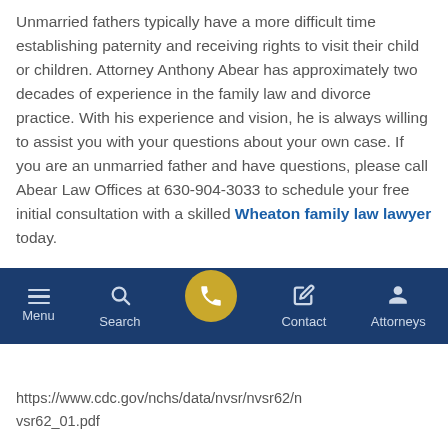Unmarried fathers typically have a more difficult time establishing paternity and receiving rights to visit their child or children. Attorney Anthony Abear has approximately two decades of experience in the family law and divorce practice. With his experience and vision, he is always willing to assist you with your questions about your own case. If you are an unmarried father and have questions, please call Abear Law Offices at 630-904-3033 to schedule your free initial consultation with a skilled Wheaton family law lawyer today.
Sources:
https://www.cdc.gov/nchs/data/nvsr/nvsr62/nvsr62_01.pdf